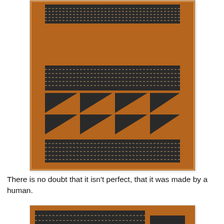[Figure (photo): A handmade textile or fabric piece in rust/brown color with black geometric stripe patterns at top and bottom, and a pattern of eight triangles (four pointing left on top row, four pointing left on bottom row) in the center. The piece has a border of the same brown fabric.]
There is no doubt that it isn't perfect, that it was made by a human.
[Figure (photo): A partial view of the same or similar handmade textile showing the top edge with brown fabric and dark horizontal stripes pattern.]